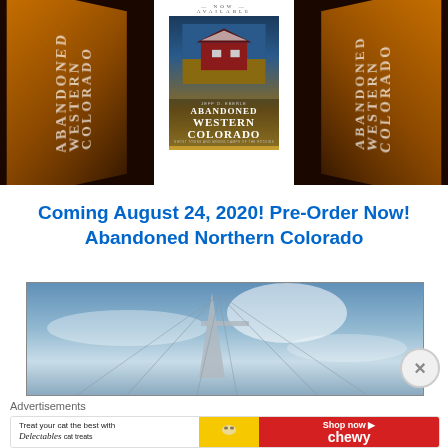[Figure (photo): Photo of multiple copies of the book 'Abandoned Western Colorado' by Jeff D. Eberle displayed fanned out, with 'NOW AVAILABLE' text visible, showing the book cover with a red barn image]
Coming August 24, 2020! Pre-Order Now! Abandoned Northern Colorado
[Figure (photo): Photograph looking up at a church steeple/spire against a blue sky with clouds]
Advertisements
[Figure (other): Advertisement banner: 'Treat your cat the best with Delectables cat treats' - Shop now Chewy]